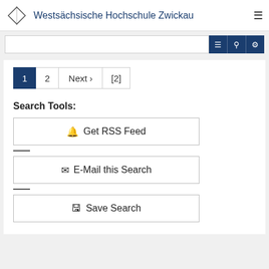Westsächsische Hochschule Zwickau
[Figure (screenshot): University search interface with pagination (1, 2, Next, [2]) and Search Tools section containing Get RSS Feed, E-Mail this Search, and Save Search buttons]
Search Tools:
🔔 Get RSS Feed
✉ E-Mail this Search
🖫 Save Search